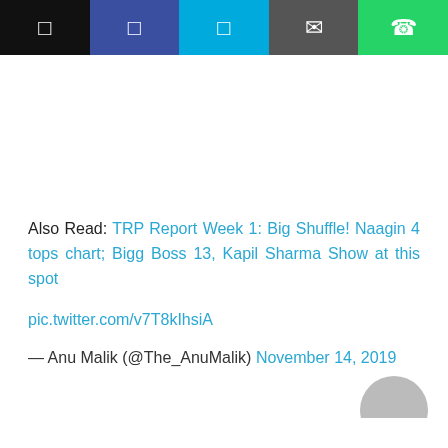[Figure (screenshot): Social sharing toolbar with five buttons: bookmark (black), Facebook (navy), Twitter (sky blue), email (dark gray), WhatsApp (green)]
Also Read: TRP Report Week 1: Big Shuffle! Naagin 4 tops chart; Bigg Boss 13, Kapil Sharma Show at this spot
pic.twitter.com/v7T8kIhsiA
— Anu Malik (@The_AnuMalik) November 14, 2019